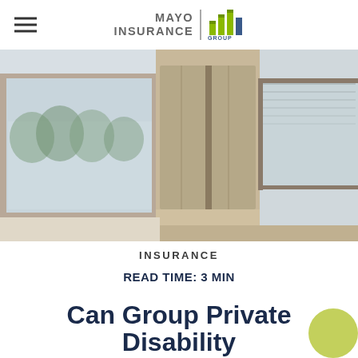MAYO INSURANCE | HILL GROUP
[Figure (photo): Interior office or building lobby with floor-to-ceiling windows, elevator doors in center, view of trees outside, bright natural light]
INSURANCE
READ TIME: 3 MIN
Can Group Private Disability